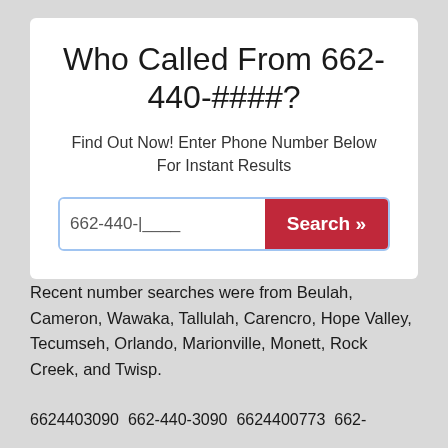Who Called From 662-440-####?
Find Out Now! Enter Phone Number Below For Instant Results
Recent number searches were from Beulah, Cameron, Wawaka, Tallulah, Carencro, Hope Valley, Tecumseh, Orlando, Marionville, Monett, Rock Creek, and Twisp.
6624403090  662-440-3090  6624400773  662-